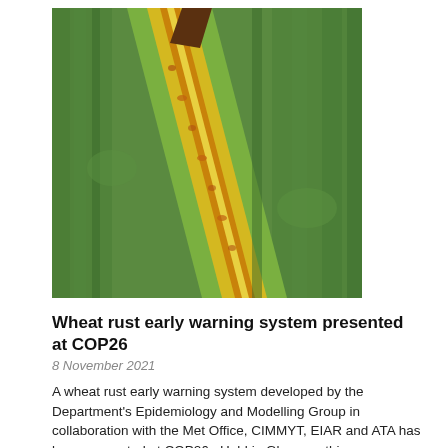[Figure (photo): Close-up photograph of a wheat leaf showing yellow rust (stripe rust) disease symptoms — yellow and orange streaks along a green leaf blade against a background of green wheat plants.]
Wheat rust early warning system presented at COP26
8 November 2021
A wheat rust early warning system developed by the Department's Epidemiology and Modelling Group in collaboration with the Met Office, CIMMYT, EIAR and ATA has been presented at COP26 . Held in Glasgow, this